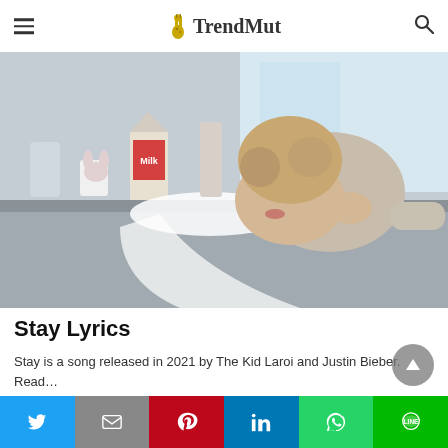TrendMut
[Figure (photo): A young man with curly hair lying on a kitchen counter, crying, with spilled milk visible. Background shows kitchen items including a milk carton.]
Stay Lyrics
Stay is a song released in 2021 by The Kid Laroi and Justin Bieber. Read…